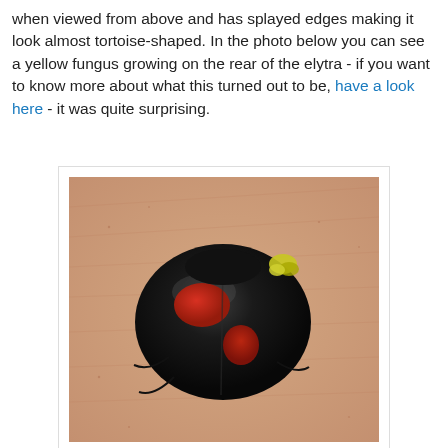when viewed from above and has splayed edges making it look almost tortoise-shaped. In the photo below you can see a yellow fungus growing on the rear of the elytra - if you want to know more about what this turned out to be, have a look here - it was quite surprising.
[Figure (photo): Close-up photograph of a black beetle (possibly a ladybird/ladybug variant) with red spots on its elytra, resting on skin. A small yellow fungus is visible at the top right of the elytra.]